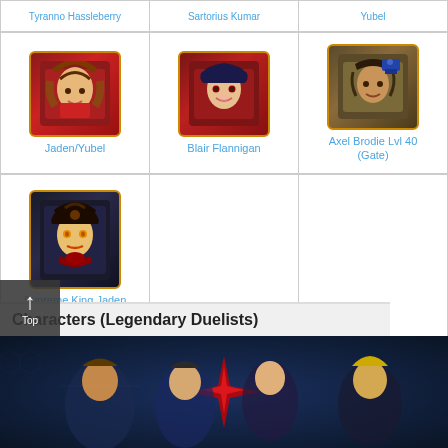| Tyranno Hassleberry | Sartorius Kumar | Yubel |
| --- | --- | --- |
| [Jaden/Yubel image] | [Blair Flannigan image] | [Axel Brodie Lvl 40 (Gate) image] |
| Jaden/Yubel | Blair Flannigan | Axel Brodie Lvl 40 (Gate) |
| [Supreme King Jaden Lvl 40 (Gate) image] |  |  |
| Supreme King Jaden Lvl 40 (Gate) |  |  |
Characters (Legendary Duelists)
[Figure (illustration): Group illustration of Yu-Gi-Oh Duel Links characters including Jaden, Kaiba, Yugi, and others against a dark blue background with red star burst element]